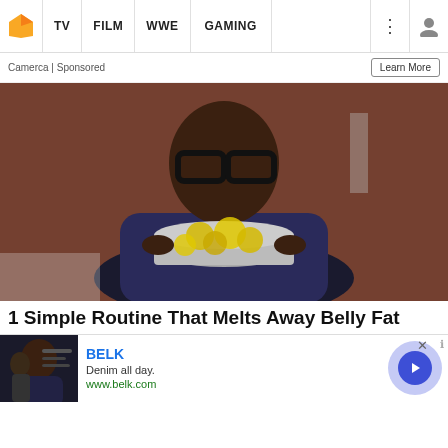TV | FILM | WWE | GAMING
Camerca | Sponsored
[Figure (photo): Person wearing glasses holding a pot with lemon slices]
1 Simple Routine That Melts Away Belly Fat
[Figure (screenshot): BELK advertisement banner. Denim all day. www.belk.com]